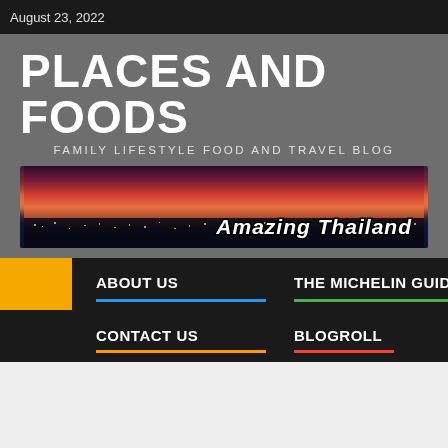August 23, 2022
PLACES AND FOODS
FAMILY LIFESTYLE FOOD AND TRAVEL BLOG
[Figure (photo): Night skyline cityscape banner with pink/orange sunset sky, city lights below, and 'Amazing Thailand' text overlay in bold italic white letters]
ABOUT US
THE MICHELIN GUIDE THAILAND
CONTACT US
BLOGROLL